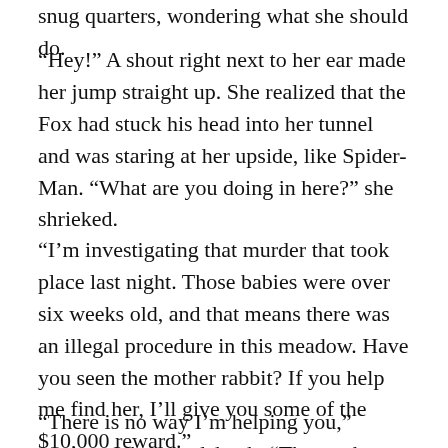snug quarters, wondering what she should do.
“Hey!” A shout right next to her ear made her jump straight up. She realized that the Fox had stuck his head into her tunnel and was staring at her upside, like Spider-Man. “What are you doing in here?” she shrieked.
“I’m investigating that murder that took place last night. Those babies were over six weeks old, and that means there was an illegal procedure in this meadow. Have you seen the mother rabbit? If you help me find her, I’ll give you some of the $10,000 reward.”
“There is no way I’m helping you,” sputtered the woodchuck. “The mother rabbit had